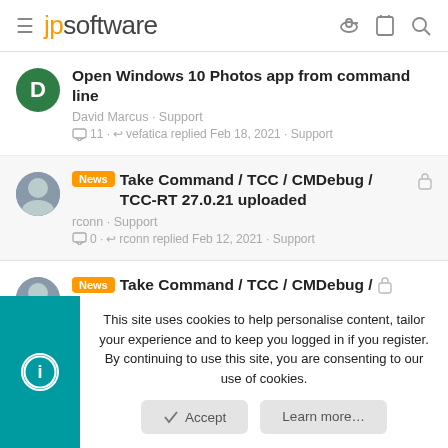jpsoftware
Open Windows 10 Photos app from command line — David Marcus · Support — 11 · vefatica replied Feb 18, 2021 · Support
News Take Command / TCC / CMDebug / TCC-RT 27.0.21 uploaded — rconn · Support — 0 · rconn replied Feb 12, 2021 · Support
News Take Command / TCC / CMDebug /
This site uses cookies to help personalise content, tailor your experience and to keep you logged in if you register. By continuing to use this site, you are consenting to our use of cookies.